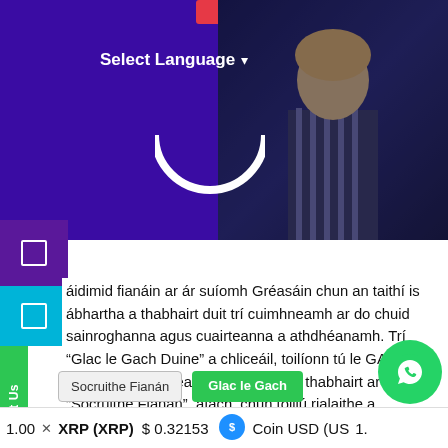[Figure (screenshot): Website header with purple background showing 'Select Language' dropdown, a red button, and a photo of a person in a striped shirt on the right side, with a white semicircle arc shape]
[Figure (screenshot): Left sidebar with purple icon, cyan icon, green 'Contact Us' vertical text, and green email/envelope icon]
[Figure (screenshot): Dark horizontal separator band across the page]
áidimid fianáin ar ár suíomh Gréasáin chun an taithí is ábhartha a thabhairt duit trí cuimhneamh ar do chuid sainroghanna agus cuairteanna a athdhéanamh. Trí "Glac le Gach Duine" a chliceáil, toilíonn tú le GACH fianán a úsáid. Féadfaidh tú cuairt a thabhairt ar "Socruithe Fianán", áfach, chun toiliú rialaithe a sholáthar.
[Figure (screenshot): Two buttons: 'Socruithe Fianán' (settings, grey) and 'Glac le Gach' (accept all, green), and WhatsApp icon button (green circle with phone icon)]
1.00   ✕   XRP (XRP)   $ 0.32153     Coin USD (US... 1.